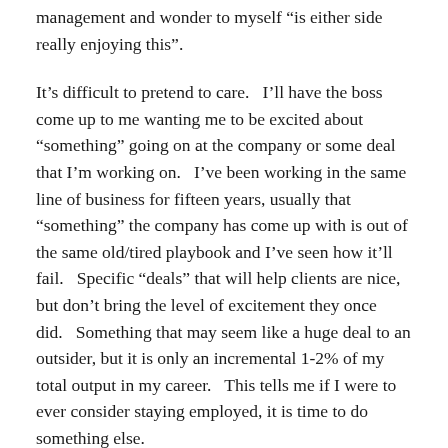management and wonder to myself "is either side really enjoying this".
It’s difficult to pretend to care.   I’ll have the boss come up to me wanting me to be excited about “something” going on at the company or some deal that I’m working on.   I’ve been working in the same line of business for fifteen years, usually that “something” the company has come up with is out of the same old/tired playbook and I’ve seen how it’ll fail.   Specific “deals” that will help clients are nice, but don’t bring the level of excitement they once did.   Something that may seem like a huge deal to an outsider, but it is only an incremental 1-2% of my total output in my career.   This tells me if I were to ever consider staying employed, it is time to do something else.
Vicki Robin reminds us in Your Money Or Your Life